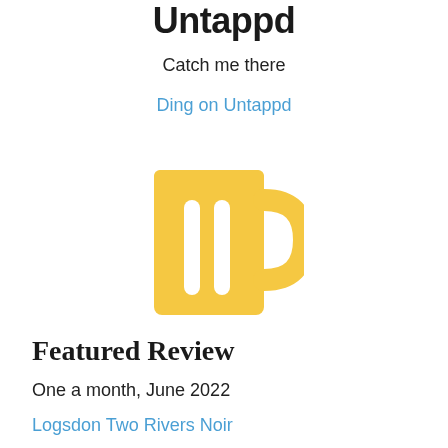Untappd
Catch me there
Ding on Untappd
[Figure (illustration): Yellow beer mug icon with two vertical lines and a handle on the right side]
Featured Review
One a month, June 2022
Logsdon Two Rivers Noir